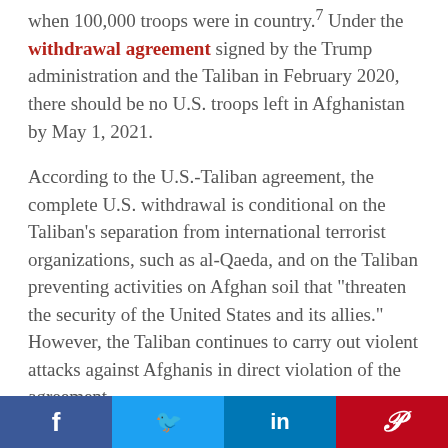when 100,000 troops were in country.7 Under the withdrawal agreement signed by the Trump administration and the Taliban in February 2020, there should be no U.S. troops left in Afghanistan by May 1, 2021.
According to the U.S.-Taliban agreement, the complete U.S. withdrawal is conditional on the Taliban's separation from international terrorist organizations, such as al-Qaeda, and on the Taliban preventing activities on Afghan soil that "threaten the security of the United States and its allies." However, the Taliban continues to carry out violent attacks against Afghanis in direct violation of the agreement.
Notably, there are currently more NATO troops